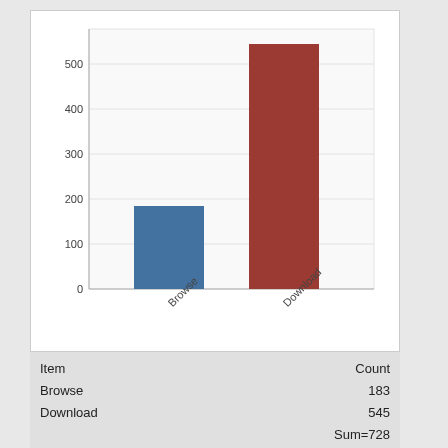[Figure (bar-chart): ]
| Item | Count |
| --- | --- |
| Browse | 183 |
| Download | 545 |
|  | Sum=728 |
Mar 6, 2021 (publication date) through Sep 1, 2022
Times Cited of This Article